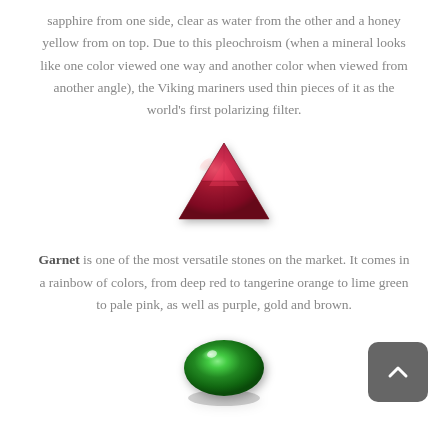sapphire from one side, clear as water from the other and a honey yellow from on top. Due to this pleochroism (when a mineral looks like one color viewed one way and another color when viewed from another angle), the Viking mariners used thin pieces of it as the world's first polarizing filter.
[Figure (photo): A red/crimson trillion-cut faceted garnet gemstone photographed against a white background]
Garnet is one of the most versatile stones on the market. It comes in a rainbow of colors, from deep red to tangerine orange to lime green to pale pink, as well as purple, gold and brown.
[Figure (photo): A green oval cabochon gemstone (likely jade or green garnet) photographed against a white background]